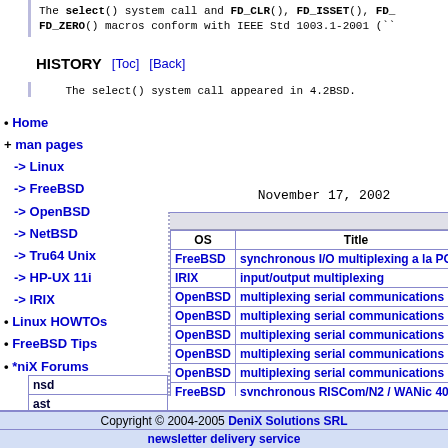The select() system call and FD_CLR(), FD_ISSET(), FD_ FD_ZERO() macros conform with IEEE Std 1003.1-2001 (``.
HISTORY
The select() system call appeared in 4.2BSD.
November 17, 2002
Home
+ man pages
-> Linux
-> FreeBSD
-> OpenBSD
-> NetBSD
-> Tru64 Unix
-> HP-UX 11i
-> IRIX
Linux HOWTOs
FreeBSD Tips
*niX Forums
| OS | Title |
| --- | --- |
| FreeBSD | synchronous I/O multiplexing a la POSIX |
| IRIX | input/output multiplexing |
| OpenBSD | multiplexing serial communications inte |
| OpenBSD | multiplexing serial communications inte |
| OpenBSD | multiplexing serial communications inte |
| OpenBSD | multiplexing serial communications inte |
| OpenBSD | multiplexing serial communications inte |
| FreeBSD | synchronous RISCom/N2 / WANic 400/40 |
| FreeBSD | synchronous Digi/Arnet device driver |
| FreeBSD | packet multiplexing netgraph node type |
| ast |
| sr |
| ar |
| ng_one2many |
Copyright © 2004-2005 DeniX Solutions SRL | newsletter delivery service